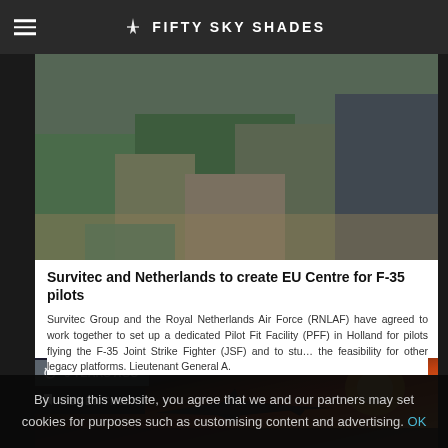FIFTY SKY SHADES
[Figure (photo): Military personnel in flight suits standing in a room, one person seated in a wheelchair]
Survitec and Netherlands to create EU Centre for F-35 pilots
Survitec Group and the Royal Netherlands Air Force (RNLAF) have agreed to work together to set up a dedicated Pilot Fit Facility (PFF) in Holland for pilots flying the F-35 Joint Strike Fighter (JSF) and to stu… the feasibility for other legacy platforms. Lieutenant General A.
[Figure (photo): Airplane flying at sunset with orange and red sky]
6 YEARS AGO
ESSENTIAL
By using this website, you agree that we and our partners may set cookies for purposes such as customising content and advertising. OK